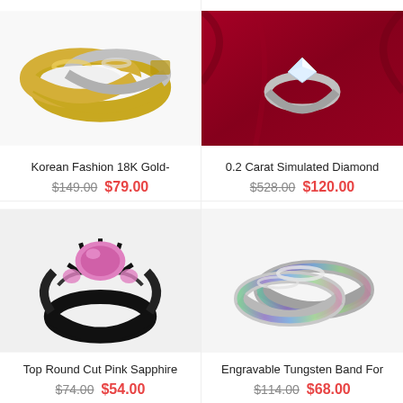[Figure (photo): Gold and silver wedding bands stacked on white background]
Korean Fashion 18K Gold-
$149.00  $79.00
[Figure (photo): Diamond ring on dark red velvet fabric]
0.2 Carat Simulated Diamond
$528.00  $120.00
[Figure (photo): Black ring with large pink sapphire round cut gemstone]
Top Round Cut Pink Sapphire
$74.00  $54.00
[Figure (photo): Silver tungsten couple bands with iridescent abalone shell inlay]
Engravable Tungsten Band For
$114.00  $68.00